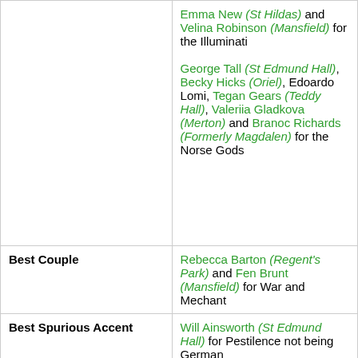|  | Emma New (St Hildas) and Velina Robinson (Mansfield) for the Illuminati
George Tall (St Edmund Hall), Becky Hicks (Oriel), Edoardo Lomi, Tegan Gears (Teddy Hall), Valeriia Gladkova (Merton) and Branoc Richards (Formerly Magdalen) for the Norse Gods |
| Best Couple | Rebecca Barton (Regent's Park) and Fen Brunt (Mansfield) for War and Mechant |
| Best Spurious Accent | Will Ainsworth (St Edmund Hall) for Pestilence not being German |